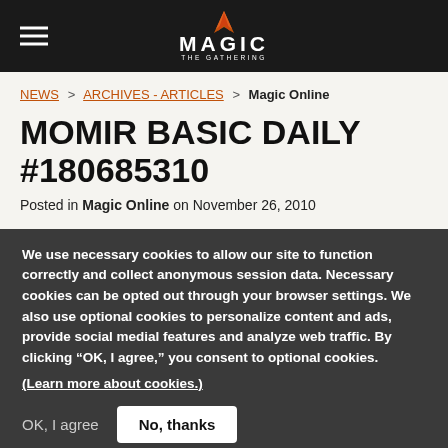MAGIC THE GATHERING
NEWS > ARCHIVES - ARTICLES > Magic Online
MOMIR BASIC DAILY #180685310
Posted in Magic Online on November 26, 2010
We use necessary cookies to allow our site to function correctly and collect anonymous session data. Necessary cookies can be opted out through your browser settings. We also use optional cookies to personalize content and ads, provide social medial features and analyze web traffic. By clicking “OK, I agree,” you consent to optional cookies. (Learn more about cookies.)
OK, I agree   No, thanks